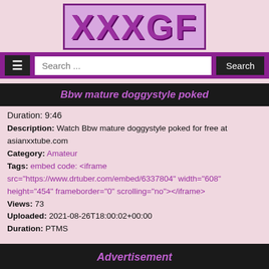[Figure (logo): XXXGF logo in purple stylized text on pink background]
Search ...  Search
Bbw mature doggystyle poked
Duration: 9:46
Description: Watch Bbw mature doggystyle poked for free at asianxxtube.com
Category: Amateur
Tags: embed code: <iframe src="https://www.drtuber.com/embed/6337804" width="608" height="454" frameborder="0" scrolling="no"></iframe>
Views: 73
Uploaded: 2021-08-26T18:00:02+00:00
Duration: PTMS
Advertisement